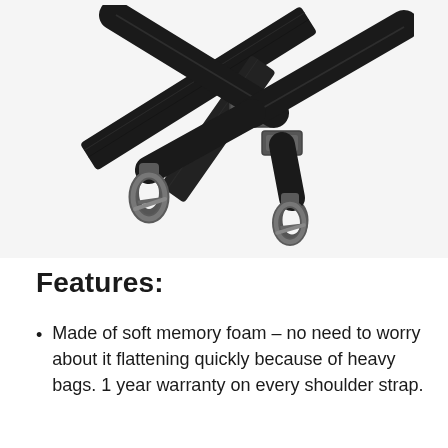[Figure (photo): A black adjustable shoulder strap with two metal swivel snap hooks at each end and a metal slider buckle adjuster in the middle, photographed on a white background.]
Features:
Made of soft memory foam – no need to worry about it flattening quickly because of heavy bags. 1 year warranty on every shoulder strap.